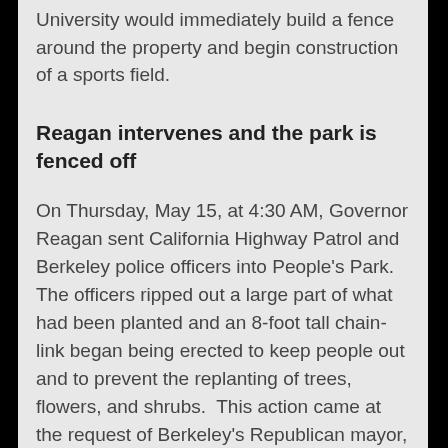University would immediately build a fence around the property and begin construction of a sports field.
Reagan intervenes and the park is fenced off
On Thursday, May 15, at 4:30 AM, Governor Reagan sent California Highway Patrol and Berkeley police officers into People's Park.  The officers ripped out a large part of what had been planted and an 8-foot tall chain-link began being erected to keep people out and to prevent the replanting of trees, flowers, and shrubs.  This action came at the request of Berkeley's Republican mayor, Wallace Johnson.  It became,